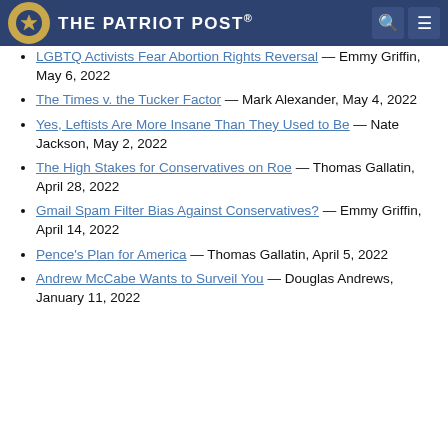The Patriot Post
LGBTQ Activists Fear Abortion Rights Reversal — Emmy Griffin, May 6, 2022
The Times v. the Tucker Factor — Mark Alexander, May 4, 2022
Yes, Leftists Are More Insane Than They Used to Be — Nate Jackson, May 2, 2022
The High Stakes for Conservatives on Roe — Thomas Gallatin, April 28, 2022
Gmail Spam Filter Bias Against Conservatives? — Emmy Griffin, April 14, 2022
Pence's Plan for America — Thomas Gallatin, April 5, 2022
Andrew McCabe Wants to Surveil You — Douglas Andrews, January 11, 2022